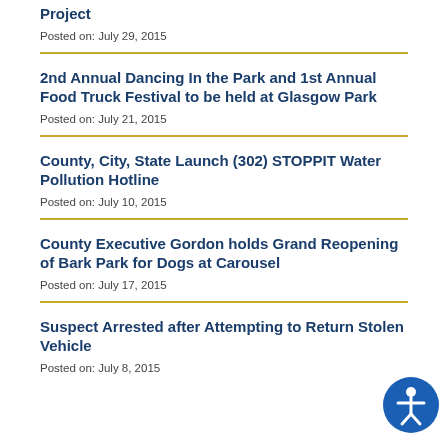Project
Posted on: July 29, 2015
2nd Annual Dancing In the Park and 1st Annual Food Truck Festival to be held at Glasgow Park
Posted on: July 21, 2015
County, City, State Launch (302) STOPPIT Water Pollution Hotline
Posted on: July 10, 2015
County Executive Gordon holds Grand Reopening of Bark Park for Dogs at Carousel
Posted on: July 17, 2015
Suspect Arrested after Attempting to Return Stolen Vehicle
Posted on: July 8, 2015